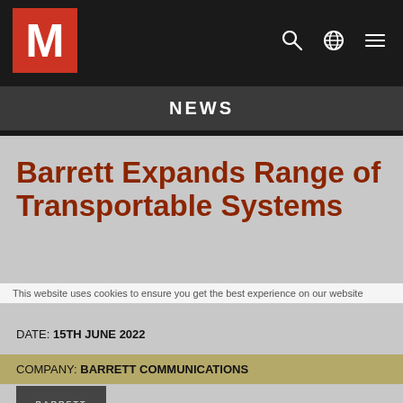[Figure (logo): Red square logo with white letter M]
NEWS
Barrett Expands Range of Transportable Systems
This website uses cookies to ensure you get the best experience on our website
DATE: 15TH JUNE 2022
COMPANY: BARRETT COMMUNICATIONS